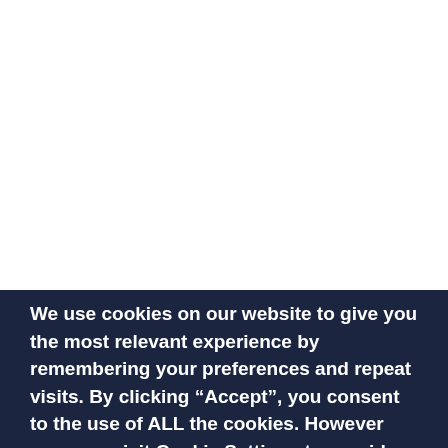We use cookies on our website to give you the most relevant experience by remembering your preferences and repeat visits. By clicking “Accept”, you consent to the use of ALL the cookies. However you may visit Cookie Settings to provide consent to